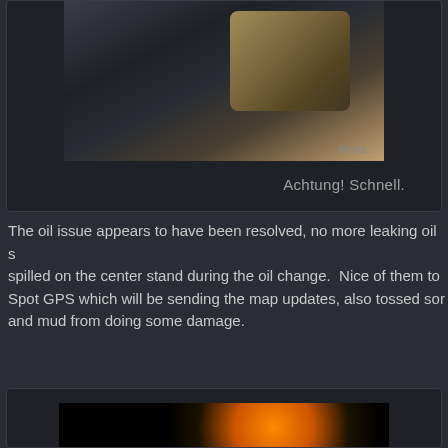[Figure (photo): Close-up photo of a hand wearing a metal watch bracelet, holding something near a bottle, partial text visible in upper right]
Achtung! Schnell.
The oil issue appears to have been resolved, no more leaking oil s… spilled on the center stand during the oil change.  Nice of them to… Spot GPS which will be sending the map updates, also tossed sor… and mud from doing some damage.
[Figure (photo): Close-up photo of a motorcycle dashboard/instrument cluster with orange backlit gauges and a green indicator light]